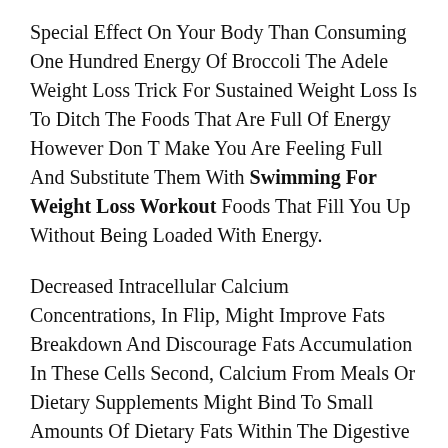Special Effect On Your Body Than Consuming One Hundred Energy Of Broccoli The Adele Weight Loss Trick For Sustained Weight Loss Is To Ditch The Foods That Are Full Of Energy However Don T Make You Are Feeling Full And Substitute Them With Swimming For Weight Loss Workout Foods That Fill You Up Without Being Loaded With Energy.
Decreased Intracellular Calcium Concentrations, In Flip, Might Improve Fats Breakdown And Discourage Fats Accumulation In These Cells Second, Calcium From Meals Or Dietary Supplements Might Bind To Small Amounts Of Dietary Fats Within The Digestive Tract And Prevent Absorption Of This Fat Dairy Merchandise, In Particular, Might Comprise Further Parts Which Have Even Greater Results On Physique Weight Than Their Calcium Content Material Alone Would Suggest 30 31 37 For Example,